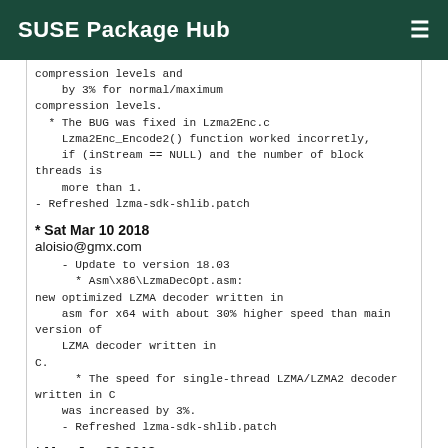SUSE Package Hub
compression levels and
    by 3% for normal/maximum
compression levels.
  * The BUG was fixed in Lzma2Enc.c
    Lzma2Enc_Encode2() function worked incorretly,
    if (inStream == NULL) and the number of block threads is
    more than 1.
- Refreshed lzma-sdk-shlib.patch
* Sat Mar 10 2018
aloisio@gmx.com
- Update to version 18.03
  * Asm\x86\LzmaDecOpt.asm: new optimized LZMA decoder written in
    asm for x64 with about 30% higher speed than main version of
    LZMA decoder written in C.
  * The speed for single-thread LZMA/LZMA2 decoder written in C
    was increased by 3%.
- Refreshed lzma-sdk-shlib.patch
* Mon Jan 29 2018